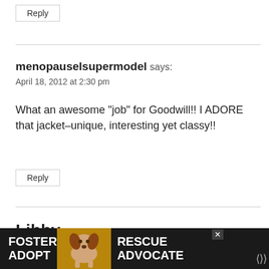Reply
menopauselsupermodel says:
April 18, 2012 at 2:30 pm
What an awesome "job" for Goodwill!! I ADORE that jacket–unique, interesting yet classy!!
Reply
Libby says:
Ap...
[Figure (other): Advertisement banner: FOSTER ADOPT / RESCUE ADVOCATE with a beagle dog image]